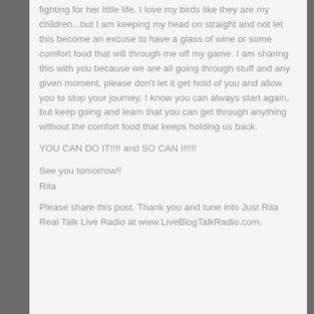fighting for her little life.  I love my birds like they are my children...but I am keeping my head on straight and not let this become an excuse to have a glass of wine or some comfort food that will through me off my game.  I am sharing this with you because we are all going through stuff and any given moment, please don't let it get hold of you and allow you to stop your journey.  I know you can always start again, but keep going and learn that you can get through anything without the comfort food that keeps holding us back.
YOU CAN DO IT!!!! and SO CAN I!!!!!
See you tomorrow!!
Rita
Please share this post. Thank you and tune into Just Rita Real Talk Live Radio at www.LiveBlogTalkRadio.com.